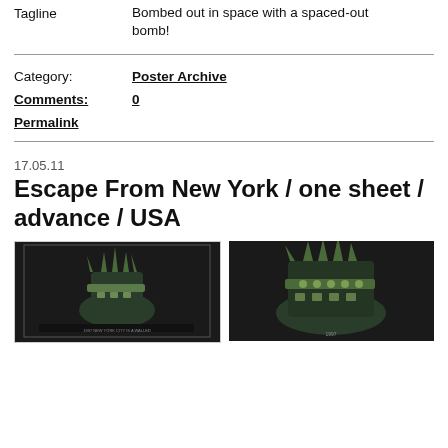Tagline   Bombed out in space with a spaced-out bomb!
Category:   Poster Archive
Comments:   0
Permalink
17.05.11
Escape From New York / one sheet / advance / USA
[Figure (photo): Two movie poster images showing the Statue of Liberty crown from Escape From New York advance one sheet USA poster]
[Figure (photo): Second movie poster image showing close-up of Statue of Liberty crown]